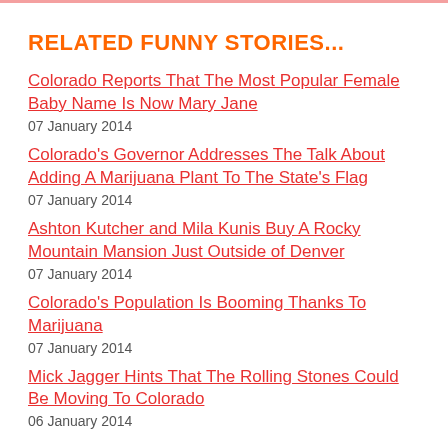RELATED FUNNY STORIES...
Colorado Reports That The Most Popular Female Baby Name Is Now Mary Jane
07 January 2014
Colorado's Governor Addresses The Talk About Adding A Marijuana Plant To The State's Flag
07 January 2014
Ashton Kutcher and Mila Kunis Buy A Rocky Mountain Mansion Just Outside of Denver
07 January 2014
Colorado's Population Is Booming Thanks To Marijuana
07 January 2014
Mick Jagger Hints That The Rolling Stones Could Be Moving To Colorado
06 January 2014